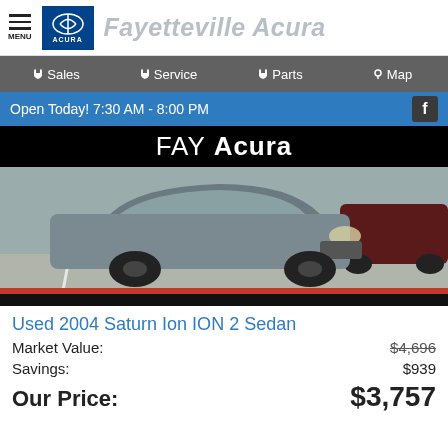MENU | Fayetteville Acura
Sales | Service | Parts | Map
Open Today! 7:30 AM - 8:00 PM
[Figure (photo): Photo of a used gray 2004 Saturn Ion ION 2 Sedan parked in a lot, with FAY Acura banner at top.]
Used 2004 Saturn Ion ION 2 Sedan
Market Value: $4,696
Savings: $939
Our Price: $3,757